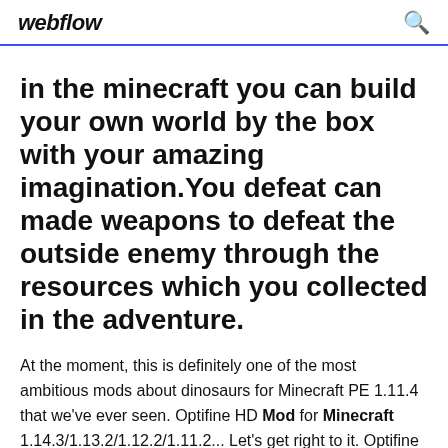webflow
in the minecraft you can build your own world by the box with your amazing imagination.You defeat can made weapons to defeat the outside enemy through the resources which you collected in the adventure.
At the moment, this is definitely one of the most ambitious mods about dinosaurs for Minecraft PE 1.11.4 that we've ever seen. Optifine HD Mod for Minecraft 1.14.3/1.13.2/1.12.2/1.11.2... Let's get right to it. Optifine HD is a mod that promises a significant